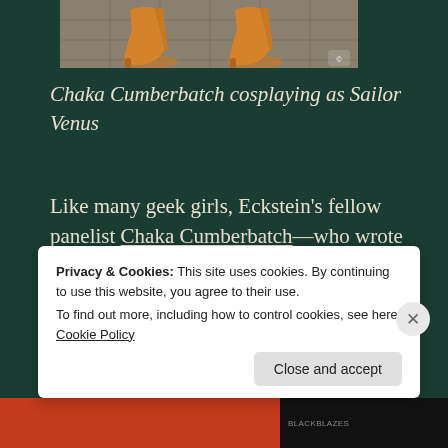[Figure (photo): Partial photo showing orange high-heeled shoes on a paved surface, cropped to show only feet and lower legs]
Chaka Cumberbatch cosplaying as Sailor Venus
Like many geek girls, Eckstein's fellow panelist Chaka Cumberbatch—who wrote the essay “I’m a Black Female Cosplayer and Some People Hate it” for XOJane—has
Privacy & Cookies: This site uses cookies. By continuing to use this website, you agree to their use.
To find out more, including how to control cookies, see here: Cookie Policy
Close and accept